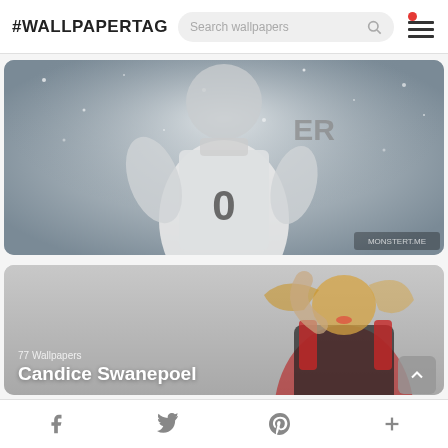#WALLPAPERTAG
[Figure (photo): Basketball player wearing jersey #0, illustrated/painted style with snowy/grey background]
[Figure (photo): Candice Swanepoel blonde model in red and black outfit, grey background. Overlay text: 77 Wallpapers / Candice Swanepoel]
Facebook  Twitter  Pinterest  +